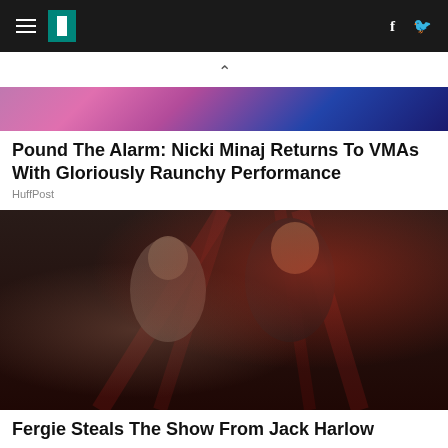HuffPost navigation bar with hamburger menu, logo, Facebook and Twitter icons
[Figure (photo): Partial image of Nicki Minaj performing, showing pink hair against a blue/purple background]
Pound The Alarm: Nicki Minaj Returns To VMAs With Gloriously Raunchy Performance
HuffPost
[Figure (photo): Fergie and Jack Harlow on stage, Fergie in silver sparkly outfit and Jack Harlow in black sequin jacket with stage lighting behind them]
Fergie Steals The Show From Jack Harlow